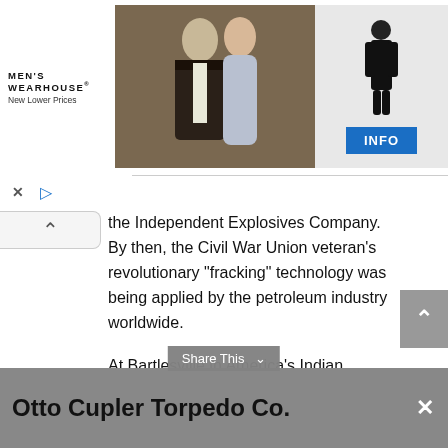[Figure (photo): Men's Wearhouse advertisement banner showing a couple dressed formally and a mannequin in a tuxedo with an INFO button]
the Independent Explosives Company. By then, the Civil War Union veteran’s revolutionary “fracking” technology was being applied by the petroleum industry worldwide.
At Bartlesville in America’s Indian Territory, a crowd gather in 1897 to watch the fracturing of an oilfield discovery well. The driller’s young stepdaughter dropped “go devil” detonating device down the wire line in well bore to set off the waiting nitroglycerin. The explosion caused the Nellie Johnstone No.1 well to erupt a geyser of “black gold” that impressed onlookers and launched the Oklahoma petroleum industry (see First Oklahoma Oil Well).
Otto Cupler Torpedo Co.